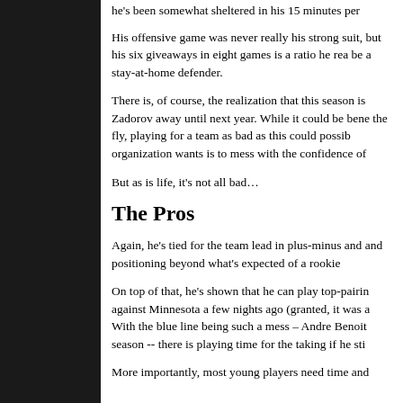he's been somewhat sheltered in his 15 minutes per
His offensive game was never really his strong suit, but his six giveaways in eight games is a ratio he rea be a stay-at-home defender.
There is, of course, the realization that this season is Zadorov away until next year. While it could be bene the fly, playing for a team as bad as this could possib organization wants is to mess with the confidence of
But as is life, it's not all bad…
The Pros
Again, he's tied for the team lead in plus-minus and and positioning beyond what's expected of a rookie
On top of that, he's shown that he can play top-pairin against Minnesota a few nights ago (granted, it was a With the blue line being such a mess – Andre Benoit season -- there is playing time for the taking if he sti
More importantly, most young players need time and